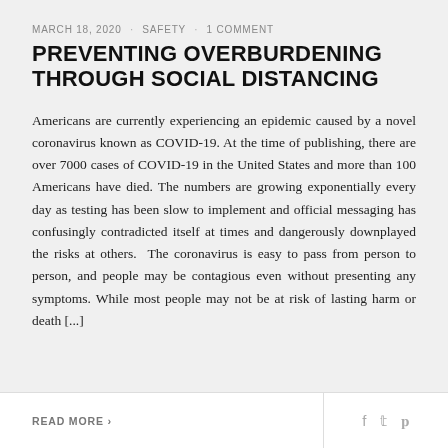MARCH 18, 2020 · SAFETY · 1 COMMENT
PREVENTING OVERBURDENING THROUGH SOCIAL DISTANCING
Americans are currently experiencing an epidemic caused by a novel coronavirus known as COVID-19. At the time of publishing, there are over 7000 cases of COVID-19 in the United States and more than 100 Americans have died. The numbers are growing exponentially every day as testing has been slow to implement and official messaging has confusingly contradicted itself at times and dangerously downplayed the risks at others.  The coronavirus is easy to pass from person to person, and people may be contagious even without presenting any symptoms. While most people may not be at risk of lasting harm or death [...]
READ MORE ›
f  t  p